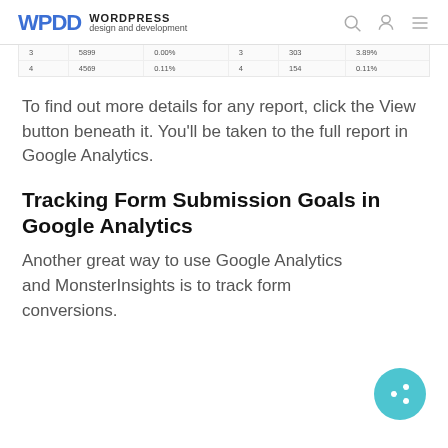WPDD WORDPRESS design and development
| 3 | 5899 | 0.00% | 3 | 303 | 3.89% |
| 4 | 4569 | 0.11% | 4 | 154 | 0.11% |
To find out more details for any report, click the View button beneath it. You'll be taken to the full report in Google Analytics.
Tracking Form Submission Goals in Google Analytics
Another great way to use Google Analytics and MonsterInsights is to track form conversions.